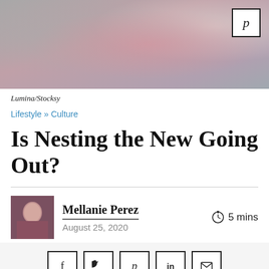[Figure (photo): Flat lay photo of pink accessories, makeup, and items on gray fabric background with Pinterest badge overlay]
Lumina/Stocksy
Lifestyle » Culture
Is Nesting the New Going Out?
Mellanie Perez
August 25, 2020
5 mins
[Figure (photo): Author photo of Mellanie Perez]
[Figure (infographic): Social sharing icons: Facebook, Twitter, Pinterest, LinkedIn, Email]